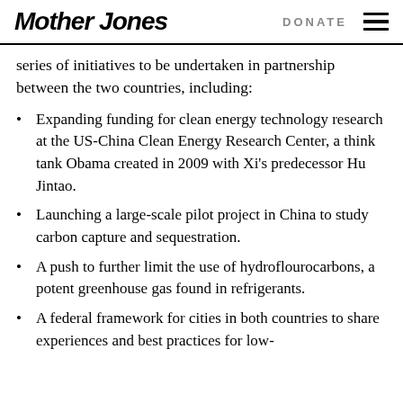Mother Jones | DONATE
series of initiatives to be undertaken in partnership between the two countries, including:
Expanding funding for clean energy technology research at the US-China Clean Energy Research Center, a think tank Obama created in 2009 with Xi's predecessor Hu Jintao.
Launching a large-scale pilot project in China to study carbon capture and sequestration.
A push to further limit the use of hydroflourocarbons, a potent greenhouse gas found in refrigerants.
A federal framework for cities in both countries to share experiences and best practices for low-